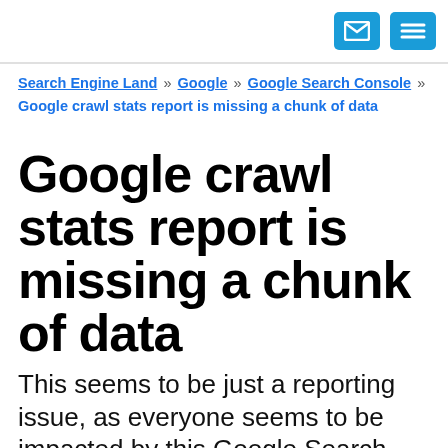[email icon] [menu icon]
Search Engine Land » Google » Google Search Console » Google crawl stats report is missing a chunk of data
Google crawl stats report is missing a chunk of data
This seems to be just a reporting issue, as everyone seems to be impacted by this Google Search Console bug.